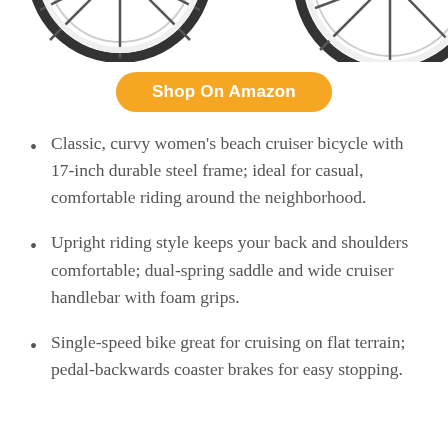[Figure (photo): Partial view of bicycle wheels, cropped at the top of the page, showing two wheels against a white background.]
Shop On Amazon
Classic, curvy women’s beach cruiser bicycle with 17-inch durable steel frame; ideal for casual, comfortable riding around the neighborhood.
Upright riding style keeps your back and shoulders comfortable; dual-spring saddle and wide cruiser handlebar with foam grips.
Single-speed bike great for cruising on flat terrain; pedal-backwards coaster brakes for easy stopping.